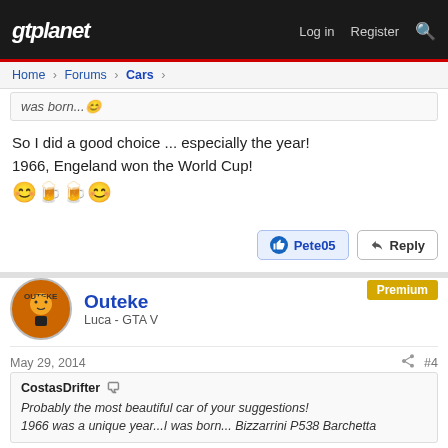gtplanet — Log in | Register | Search
Home > Forums > Cars >
was born...😊
So I did a good choice ... especially the year!
1966, Engeland won the World Cup!
😊🍺🍺😊
👍 Pete05
↩ Reply
Outeke
Luca - GTA V
Premium
May 29, 2014  #4
CostasDrifter 💬
Probably the most beautiful car of your suggestions!
1966 was a unique year...I was born... Bizzarrini P538 Barchetta